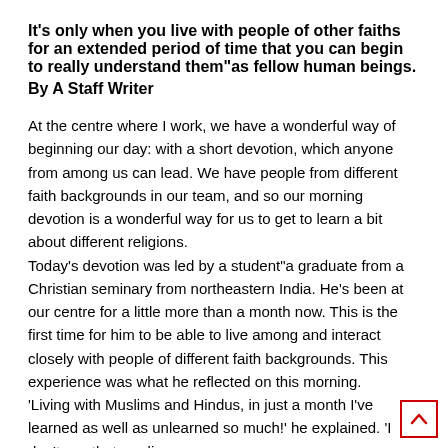It's only when you live with people of other faiths for an extended period of time that you can begin to really understand them"​a as fellow human beings.
By A Staff Writer
At the centre where I work, we have a wonderful way of beginning our day: with a short devotion, which anyone from among us can lead. We have people from different faith backgrounds in our team, and so our morning devotion is a wonderful way for us to get to learn a bit about different religions.
Today’s devotion was led by a student"​a graduate from a Christian seminary from northeastern India. He’s been at our centre for a little more than a month now. This is the first time for him to be able to live among and interact closely with people of different faith backgrounds. This experience was what he reflected on this morning.
‘Living with Muslims and Hindus, in just a month I’ve learned as well as unlearned so much!’ he explained. ‘I don’t say that reading about inter-faith dialogue and participating in seminars about it is...